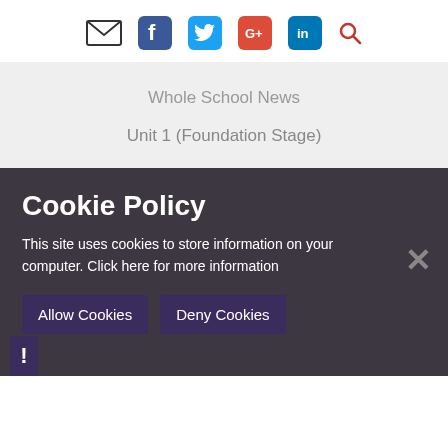[Figure (other): Social media icons row: email envelope, Facebook, Twitter, Google+, LinkedIn, and search magnifier]
Whole School News
Unit 1 (Foundation Stage)
Cookie Policy
This site uses cookies to store information on your computer. Click here for more information
Allow Cookies
Deny Cookies